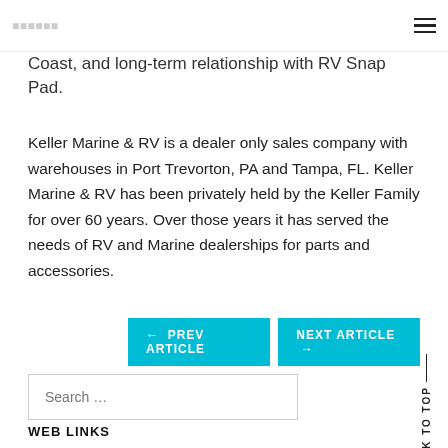Coast, and long-term relationship with RV Snap Pad.
Keller Marine & RV is a dealer only sales company with warehouses in Port Trevorton, PA and Tampa, FL. Keller Marine & RV has been privately held by the Keller Family for over 60 years. Over those years it has served the needs of RV and Marine dealerships for parts and accessories.
← PREV ARTICLE   NEXT ARTICLE →
Search …
BACK TO TOP
WEB LINKS